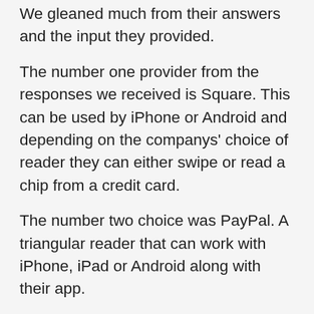We gleaned much from their answers and the input they provided.
The number one provider from the responses we received is Square. This can be used by iPhone or Android and depending on the companys' choice of reader they can either swipe or read a chip from a credit card.
The number two choice was PayPal. A triangular reader that can work with iPhone, iPad or Android along with their app.
Intuit QuickBooks Go Payments also works with iPhone, iPad and Android.
Other companies that are used by estate liquidators are Amazon, First Data, Merchant Warehouse, SharkPay by Capitol One, Bank of America and EPN Resellers.
The preceding sentences are the estate sale companies in...